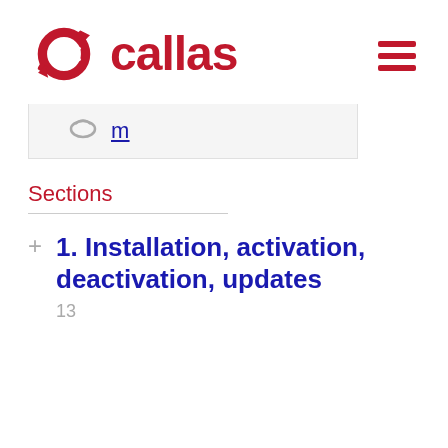[Figure (logo): Callas software logo — red circular gear/C icon with 'callas' text in red bold]
m
Sections
1. Installation, activation, deactivation, updates
13